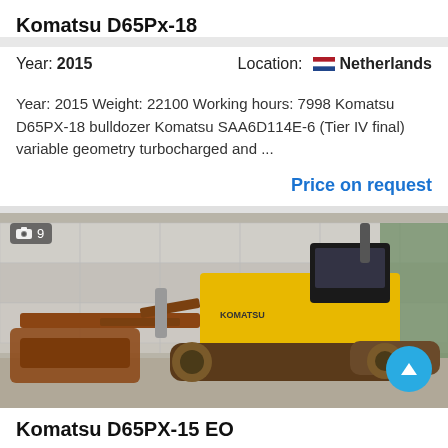Komatsu D65Px-18
Year: 2015   Location: Netherlands
Year: 2015 Weight: 22100 Working hours: 7998 Komatsu D65PX-18 bulldozer Komatsu SAA6D114E-6 (Tier IV final) variable geometry turbocharged and ...
Price on request
[Figure (photo): Komatsu D65PX-15 EO bulldozer photographed outdoors, yellow bulldozer with rusty tracks and blade attachment, with a grey industrial building in background. Photo badge shows camera icon and number 9.]
Komatsu D65PX-15 EO